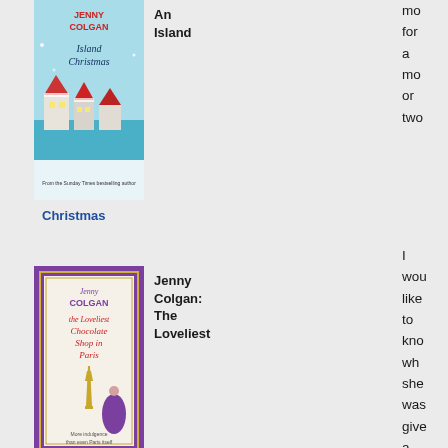[Figure (illustration): Book cover: Jenny Colgan - Island Christmas, teal/blue color with snowy island village scene]
An Island
Christmas
mo
for
a
mo
or
two
[Figure (illustration): Book cover: Jenny Colgan - The Loveliest Chocolate Shop in Paris, purple ornate border with Eiffel Tower]
Jenny Colgan: The Loveliest
Chocolate Shop in Paris
I
wou
like
to
kno
wh
she
was
give
a
tick
and
wha
she
has
don
to
[Figure (illustration): Book cover: Jenny Colgan - Summer at Little Beach Street Bakery, colorful with bird and floral decoration]
Jenny Colgan: Summer at Little Beach
to